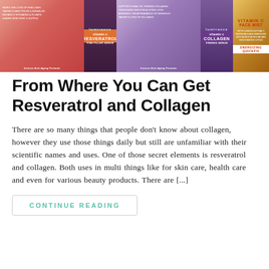[Figure (photo): Row of Lumirance vitamin C skincare products including Resveratrol serum box (pink/red), dark bottle, Collagen serum box (purple/lavender), purple bottle, and Vitamin C Face Mist (amber/orange). All products shown partially cropped at top of page.]
From Where You Can Get Resveratrol and Collagen
There are so many things that people don't know about collagen, however they use those things daily but still are unfamiliar with their scientific names and uses. One of those secret elements is resveratrol and collagen. Both uses in multi things like for skin care, health care and even for various beauty products. There are [...]
CONTINUE READING